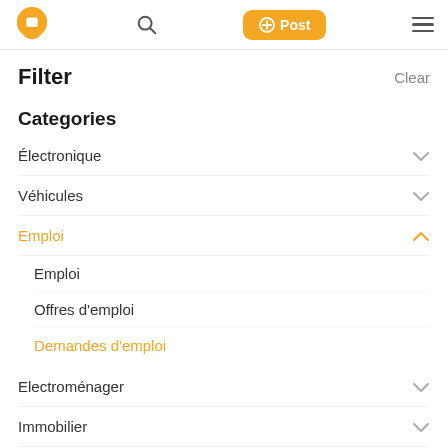Logo | Search | + Post | Menu
Filter
Categories
Électronique
Véhicules
Emploi (active, expanded)
Emploi (sub)
Offres d'emploi
Demandes d'emploi (active)
Electroménager
Immobilier